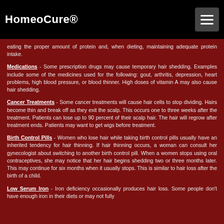HomeoCure®
eating the proper amount of protein and, when dieting, maintaining adequate protein intake.
Medications - Some prescription drugs may cause temporary hair shedding. Examples include some of the medicines used for the following: gout, arthritis, depression, heart problems, high blood pressure, or blood thinner. High doses of vitamin A may also cause hair shedding.
Cancer Treatments - Some cancer treatments will cause hair cells to stop dividing. Hairs become thin and break off as they exit the scalp. This occurs one to three weeks after the treatment. Patients can lose up to 90 percent of their scalp hair. The hair will regrow after treatment ends. Patients may want to get wigs before treatment.
Birth Control Pills - Women who lose hair while taking birth control pills usually have an inherited tendency for hair thinning. If hair thinning occurs, a woman can consult her gynecologist about switching to another birth control pill. When a women stops using oral contraceptives, she may notice that her hair begins shedding two or three months later. This may continue for six months when it usually stops. This is similar to hair loss after the birth of a child.
Low Serum Iron - Iron deficiency occasionally produces hair loss. Some people don't have enough iron in their diets or may not fully